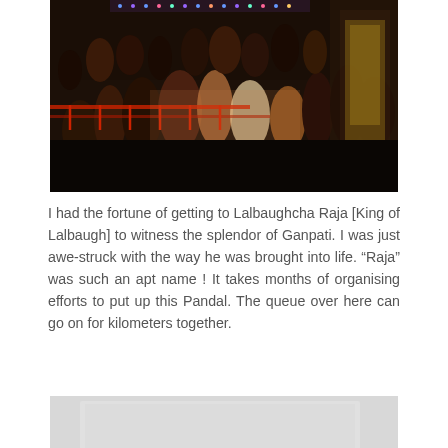[Figure (photo): Crowded festival scene inside Lalbaughcha Raja Ganpati pandal, showing many people gathered, colorful decorations, lights, and ornate structures in the background]
I had the fortune of getting to Lalbaughcha Raja [King of Lalbaugh] to witness the splendor of Ganpati. I was just awe-struck with the way he was brought into life. “Raja” was such an apt name ! It takes months of organising efforts to put up this Pandal. The queue over here can go on for kilometers together.
[Figure (photo): Close-up view of elaborately decorated Ganpati idol crown and ornaments, featuring blue mosaic tiles, golden sun motif, and colorful jeweled decorations with pink flowers]